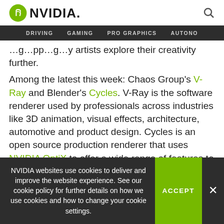NVIDIA. [logo] [search icon]
DRIVING   GAMING   PRO GRAPHICS   AUTONO
…g…pp…g…y artists explore their creativity further.
Among the latest this week: Chaos Group's V-Ray and Blender's Cycles. V-Ray is the software renderer used by professionals across industries like 3D animation, visual effects, architecture, automotive and product design. Cycles is an open source production renderer that uses NVIDIA OptiX to offer a wide range of features to enhance 3D animation, like subsurface scattering and
NVIDIA websites use cookies to deliver and improve the website experience. See our cookie policy for further details on how we use cookies and how to change your cookie settings.
ACCEPT